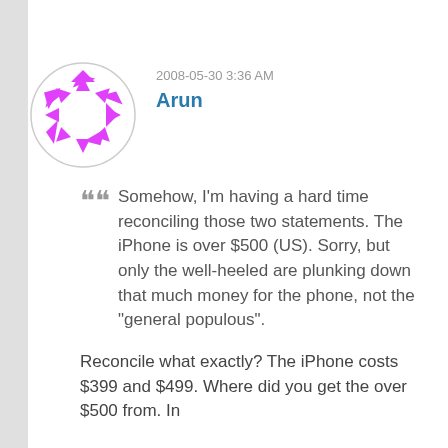[Figure (illustration): Avatar image: a circle with magenta/pink triangular arrow shapes arranged in a ring pattern on white background]
2008-05-30 3:36 AM
Arun
Somehow, I'm having a hard time reconciling those two statements. The iPhone is over $500 (US). Sorry, but only the well-heeled are plunking down that much money for the phone, not the "general populous".
Reconcile what exactly? The iPhone costs $399 and $499. Where did you get the over $500 from. In